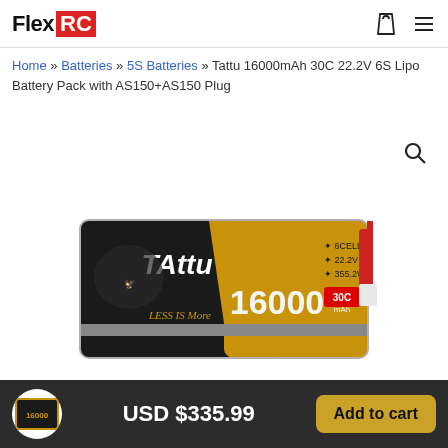Flex RC
Home » Batteries » 5S Batteries » Tattu 16000mAh 30C 22.2V 6S Lipo Battery Pack with AS150+AS150 Plug
[Figure (photo): Tattu 16000mAh 30C 22.2V 6S LiPo battery pack with black and gold casing, showing '16000 30C mAh', '6CELLS', '22.2V', '355.2Wh', 'LESS IS More' text. Red wire connector visible.]
USD $335.99
Add to cart